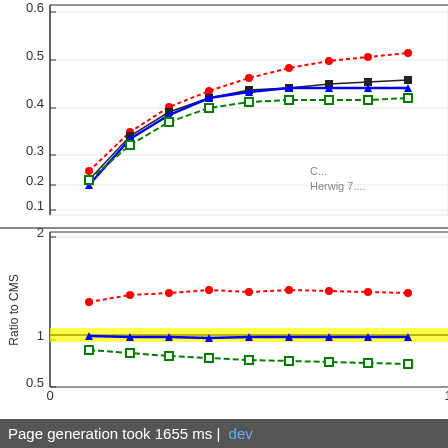[Figure (continuous-plot): Partial view of a two-panel physics plot. Upper panel: y-axis from ~0.1 to 0.6, showing four data series (red dotted line with circles, black filled squares, blue solid line with triangles, green dashed line with open squares) rising steeply then leveling off. Legend text partially visible: 'CMS' and 'Herwig 7.'. Lower panel labeled 'Ratio to CMS' on y-axis (range ~0.5 to 2), showing ratio lines for the same series against a yellow band at y=1. x-axis runs from 0 to ~1 (partially cut off).]
Page generation took 1655 ms | dev